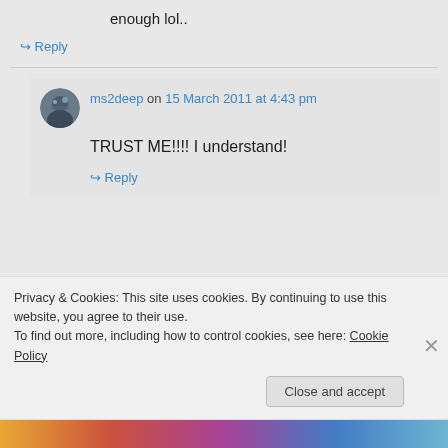enough lol..
↪ Reply
ms2deep on 15 March 2011 at 4:43 pm
TRUST ME!!!! I understand!
↪ Reply
Privacy & Cookies: This site uses cookies. By continuing to use this website, you agree to their use. To find out more, including how to control cookies, see here: Cookie Policy
Close and accept